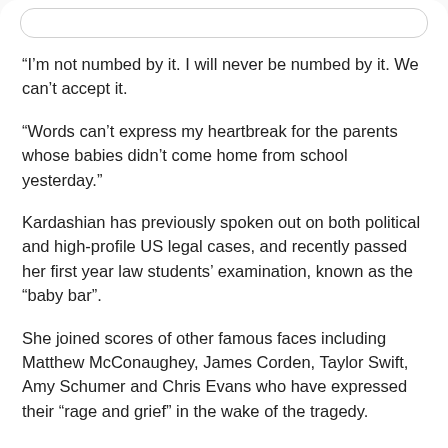“I’m not numbed by it. I will never be numbed by it. We can’t accept it.
“Words can’t express my heartbreak for the parents whose babies didn’t come home from school yesterday.”
Kardashian has previously spoken out on both political and high-profile US legal cases, and recently passed her first year law students’ examination, known as the “baby bar”.
She joined scores of other famous faces including Matthew McConaughey, James Corden, Taylor Swift, Amy Schumer and Chris Evans who have expressed their “rage and grief” in the wake of the tragedy.